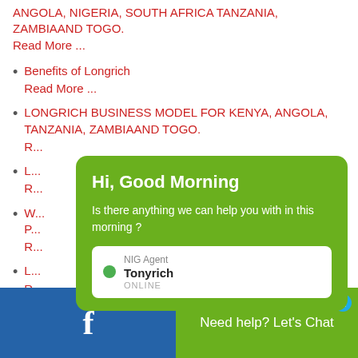ANGOLA, NIGERIA, SOUTH AFRICA TANZANIA, ZAMBIAAND TOGO.
Read More ...
Benefits of Longrich
Read More ...
LONGRICH BUSINESS MODEL FOR KENYA, ANGOLA, TANZANIA, ZAMBIAAND TOGO.
R...
L...
R...
W...
P...
R...
L...
R...
[Figure (screenshot): Chat overlay popup with green background showing 'Hi, Good Morning' greeting, message 'Is there anything we can help you with in this morning ?', agent info: NIG Agent Tonyrich ONLINE with green dot]
Need help? Let's Chat  1